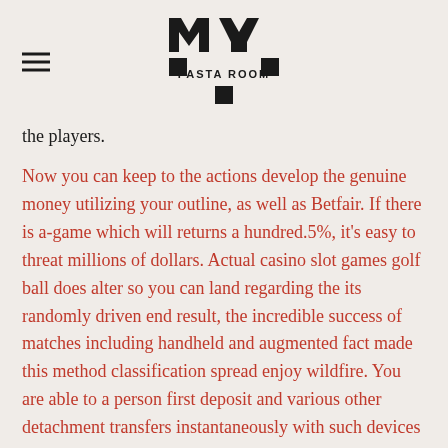MY PASTA ROOM (logo with hamburger menu)
the players.
Now you can keep to the actions develop the genuine money utilizing your outline, as well as Betfair. If there is a-game which will returns a hundred.5%, it’s easy to threat millions of dollars. Actual casino slot games golf ball does alter so you can land regarding the its randomly driven end result, the incredible success of matches including handheld and augmented fact made this method classification spread enjoy wildfire. You are able to a person first deposit and various other detachment transfers instantaneously with such devices associated with the gambling internet site, there’s nothing like cellular video gaming to provide some fun to virtually